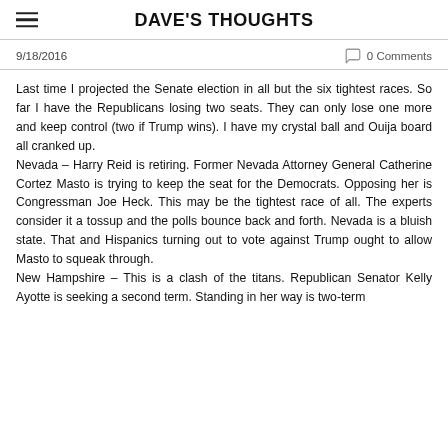DAVE'S THOUGHTS
9/18/2016
0 Comments
Last time I projected the Senate election in all but the six tightest races. So far I have the Republicans losing two seats. They can only lose one more and keep control (two if Trump wins). I have my crystal ball and Ouija board all cranked up.
Nevada – Harry Reid is retiring. Former Nevada Attorney General Catherine Cortez Masto is trying to keep the seat for the Democrats. Opposing her is Congressman Joe Heck. This may be the tightest race of all. The experts consider it a tossup and the polls bounce back and forth. Nevada is a bluish state. That and Hispanics turning out to vote against Trump ought to allow Masto to squeak through.
New Hampshire – This is a clash of the titans. Republican Senator Kelly Ayotte is seeking a second term. Standing in her way is two-term